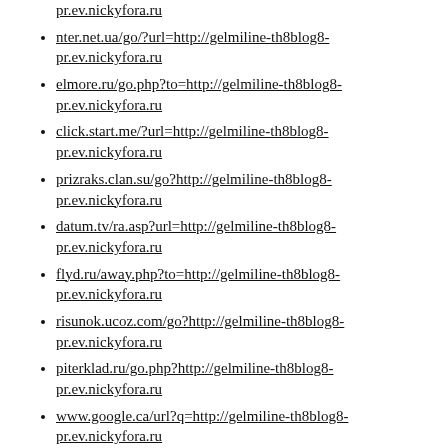pr.ev.nickyfora.ru
nter.net.ua/go/?url=http://gelmiline-th8blog8-pr.ev.nickyfora.ru
elmore.ru/go.php?to=http://gelmiline-th8blog8-pr.ev.nickyfora.ru
click.start.me/?url=http://gelmiline-th8blog8-pr.ev.nickyfora.ru
prizraks.clan.su/go?http://gelmiline-th8blog8-pr.ev.nickyfora.ru
datum.tv/ra.asp?url=http://gelmiline-th8blog8-pr.ev.nickyfora.ru
flyd.ru/away.php?to=http://gelmiline-th8blog8-pr.ev.nickyfora.ru
risunok.ucoz.com/go?http://gelmiline-th8blog8-pr.ev.nickyfora.ru
piterklad.ru/go.php?http://gelmiline-th8blog8-pr.ev.nickyfora.ru
www.google.ca/url?q=http://gelmiline-th8blog8-pr.ev.nickyfora.ru